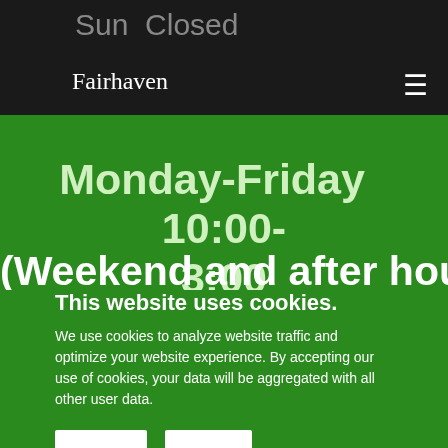Sun  Closed
Fairhaven
Monday-Friday  10:00-3:00
(Weekend and after hour
This website uses cookies.
We use cookies to analyze website traffic and optimize your website experience. By accepting our use of cookies, your data will be aggregated with all other user data.
DECLINE
ACCEPT